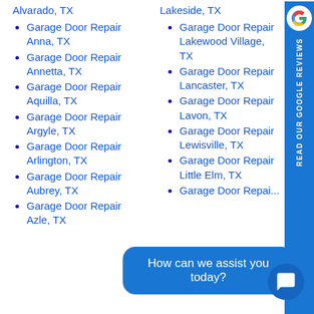Garage Door Repair Alvarado, TX
Garage Door Repair Anna, TX
Garage Door Repair Annetta, TX
Garage Door Repair Aquilla, TX
Garage Door Repair Argyle, TX
Garage Door Repair Arlington, TX
Garage Door Repair Aubrey, TX
Garage Door Repair Azle, TX
Garage Door Repair Lakeside, TX
Garage Door Repair Lakewood Village, TX
Garage Door Repair Lancaster, TX
Garage Door Repair Lavon, TX
Garage Door Repair Lewisville, TX
Garage Door Repair Little Elm, TX
[Figure (logo): Google G logo on blue sidebar with text READ OUR GOOGLE REVIEWS]
[Figure (infographic): Chat bubble saying How can we assist you today? with chat icon button]